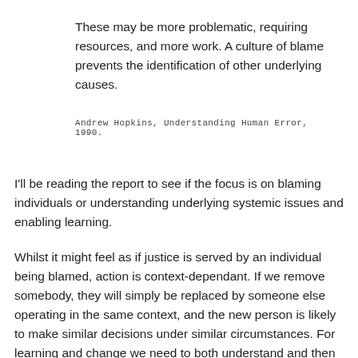These may be more problematic, requiring resources, and more work. A culture of blame prevents the identification of other underlying causes.
Andrew Hopkins, Understanding Human Error, 1990.
I'll be reading the report to see if the focus is on blaming individuals or understanding underlying systemic issues and enabling learning.
Whilst it might feel as if justice is served by an individual being blamed, action is context-dependant. If we remove somebody, they will simply be replaced by someone else operating in the same context, and the new person is likely to make similar decisions under similar circumstances. For learning and change we need to both understand and then shift the context inside of which actions are taken.